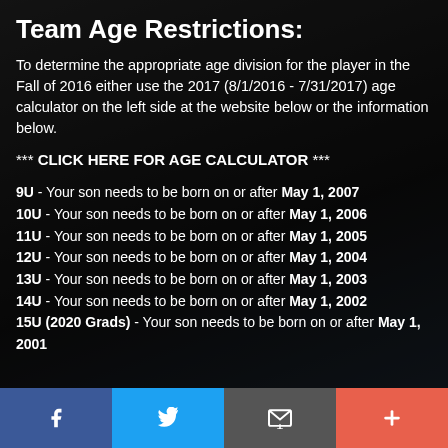Team Age Restrictions:
To determine the appropriate age division for the player in the Fall of 2016 either use the 2017 (8/1/2016 - 7/31/2017) age calculator on the left side at the website below or the information below.
*** CLICK HERE FOR AGE CALCULATOR ***
9U - Your son needs to be born on or after May 1, 2007
10U - Your son needs to be born on or after May 1, 2006
11U - Your son needs to be born on or after May 1, 2005
12U - Your son needs to be born on or after May 1, 2004
13U - Your son needs to be born on or after May 1, 2003
14U - Your son needs to be born on or after May 1, 2002
15U (2020 Grads) - Your son needs to be born on or after May 1, 2001